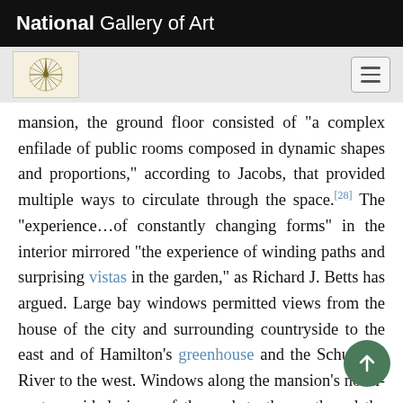National Gallery of Art
mansion, the ground floor consisted of “a complex enfilade of public rooms composed in dynamic shapes and proportions,” according to Jacobs, that provided multiple ways to circulate through the space.[28] The “experience…of constantly changing forms” in the interior mirrored “the experience of winding paths and surprising vistas in the garden,” as Richard J. Betts has argued. Large bay windows permitted views from the house of the city and surrounding countryside to the east and of Hamilton’s greenhouse and the Schuylkill River to the west. Windows along the mansion’s north-sout provided views of the park to the north and the gar and river to the south. Mirrors affixed to both sides of